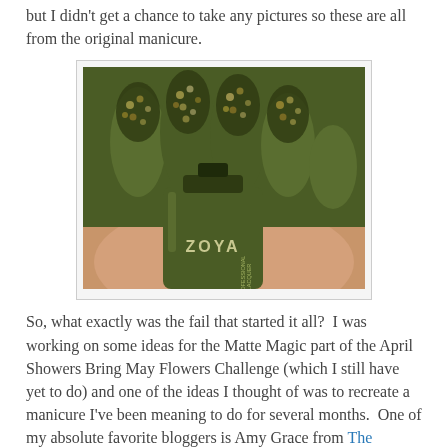but I didn't get a chance to take any pictures so these are all from the original manicure.
[Figure (photo): Close-up photo of nails painted with dark olive green Zoya nail polish with glittery scale-like pattern on top, next to the Zoya polish bottle labeled 'PROFESSIONAL LACQUER']
So, what exactly was the fail that started it all?  I was working on some ideas for the Matte Magic part of the April Showers Bring May Flowers Challenge (which I still have yet to do) and one of the ideas I thought of was to recreate a manicure I've been meaning to do for several months.  One of my absolute favorite bloggers is Amy Grace from The Polished Perfectionist.  Check out her site, but be warned, it will make you jealous!  She was blessed with perfectly